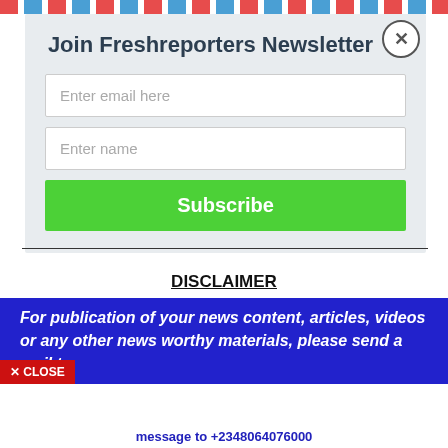[Figure (screenshot): Airmail diagonal stripe border at top of page in red, white, and blue repeating pattern]
Join Freshreporters Newsletter
Enter email here
Enter name
Subscribe
DISCLAIMER
For publication of your news content, articles, videos or any other news worthy materials, please send a mail to
× CLOSE
message to +2348064076000